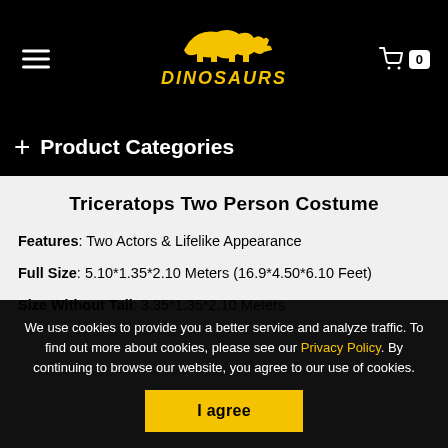DINOSAURS (logo with hamburger menu and cart showing 0)
+ Product Categories
Triceratops Two Person Costume
Features: Two Actors & Lifelike Appearance
Full Size: 5.10*1.35*2.10 Meters (16.9*4.50*6.10 Feet)
Size Without Tail: 3.35*1.35*2.10 Meters
We use cookies to provide you a better service and analyze traffic. To find out more about cookies, please see our Privacy Policy. By continuing to browse our website, you agree to our use of cookies.
I agree